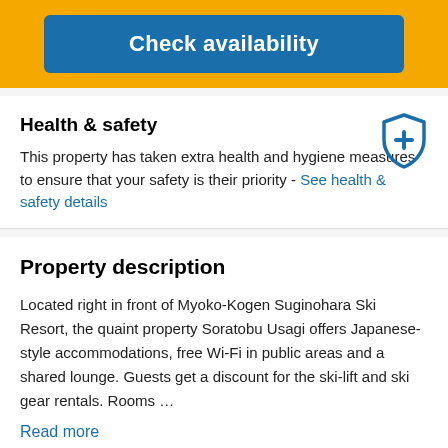Check availability
Health & safety
This property has taken extra health and hygiene measures to ensure that your safety is their priority - See health & safety details
Property description
Located right in front of Myoko-Kogen Suginohara Ski Resort, the quaint property Soratobu Usagi offers Japanese-style accommodations, free Wi-Fi in public areas and a shared lounge. Guests get a discount for the ski-lift and ski gear rentals. Rooms …
Read more
Facilities